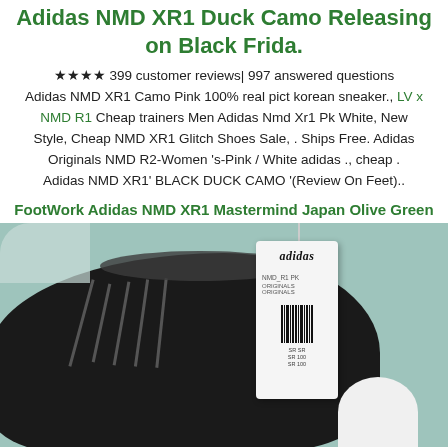Adidas NMD XR1 Duck Camo Releasing on Black Frida.
★★★★ 399 customer reviews| 997 answered questions Adidas NMD XR1 Camo Pink 100% real pict korean sneaker., LV x NMD R1 Cheap trainers Men Adidas Nmd Xr1 Pk White, New Style, Cheap NMD XR1 Glitch Shoes Sale, . Ships Free. Adidas Originals NMD R2-Women 's-Pink / White adidas ., cheap . Adidas NMD XR1' BLACK DUCK CAMO '(Review On Feet)..
FootWork Adidas NMD XR1 Mastermind Japan Olive Green
[Figure (photo): Photo of a black Adidas NMD sneaker with an adidas tag attached, placed on a teal/mint colored surface. The tag displays the adidas logo and NMD_R1 PK model text with a barcode. A white sock/shoe is partially visible at the right edge.]